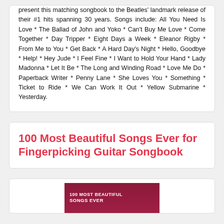present this matching songbook to the Beatles' landmark release of their #1 hits spanning 30 years. Songs include: All You Need Is Love * The Ballad of John and Yoko * Can't Buy Me Love * Come Together * Day Tripper * Eight Days a Week * Eleanor Rigby * From Me to You * Get Back * A Hard Day's Night * Hello, Goodbye * Help! * Hey Jude * I Feel Fine * I Want to Hold Your Hand * Lady Madonna * Let It Be * The Long and Winding Road * Love Me Do * Paperback Writer * Penny Lane * She Loves You * Something * Ticket to Ride * We Can Work It Out * Yellow Submarine * Yesterday.
100 Most Beautiful Songs Ever for Fingerpicking Guitar Songbook
[Figure (illustration): Bottom portion of a book cover with dark red/maroon background showing '100 MOST BEAUTIFUL SONGS EVER' text in white]